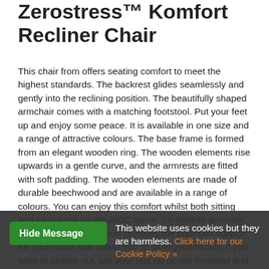Zerostress™ Komfort Recliner Chair
This chair from offers seating comfort to meet the highest standards. The backrest glides seamlessly and gently into the reclining position. The beautifully shaped armchair comes with a matching footstool. Put your feet up and enjoy some peace. It is available in one size and a range of attractive colours. The base frame is formed from an elegant wooden ring. The wooden elements rise upwards in a gentle curve, and the armrests are fitted with soft padding. The wooden elements are made of durable beechwood and are available in a range of colours. You can enjoy this comfort whilst both sitting and lying back on the 360C swivel Zerostress armchair. A defined lumbar support provides the optimum support for your spine and allows you to sit ergonomically. If you want to stretch out, put your feet up on the footstool and lie back. The himolla Zerostress function causes the backrest to glide smoothly towards into the reclining position. The ease with which you operate the reclining is due to the two handles on the sides of the chair. The headrest automatically adjusts to the chosen position so you
This website uses cookies but they are harmless. Click here for our Cookie Policy »